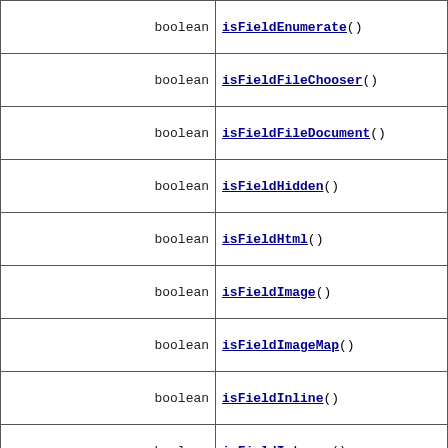| type | method |
| --- | --- |
| boolean | isFieldEnumerate() |
| boolean | isFieldFileChooser() |
| boolean | isFieldFileDocument() |
| boolean | isFieldHidden() |
| boolean | isFieldHtml() |
| boolean | isFieldImage() |
| boolean | isFieldImageMap() |
| boolean | isFieldInline() |
| boolean | isFieldInteger() |
| boolean | isFieldMedia() |
| boolean | isFieldML() |